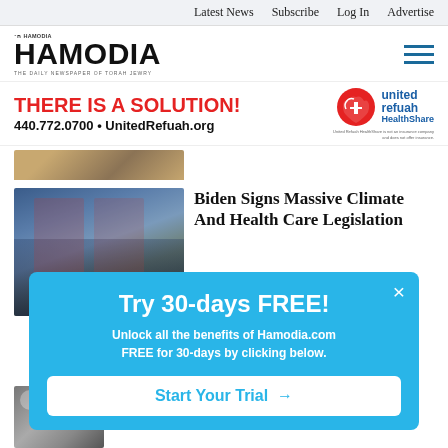Latest News   Subscribe   Log In   Advertise
[Figure (logo): Hamodia newspaper logo with Hebrew text and tagline 'The Daily Newspaper of Torah Jewry']
[Figure (infographic): United Refuah HealthShare advertisement banner: 'THERE IS A SOLUTION!' in red, phone 440.772.0700, UnitedRefuah.org, with United Refuah HealthShare logo]
[Figure (photo): Partially visible photo at top — rope or similar object]
[Figure (photo): Photo of Biden signing legislation with senators nearby, American flags in background]
Biden Signs Massive Climate And Health Care Legislation
[Figure (infographic): Popup: Try 30-days FREE! Unlock all the benefits of Hamodia.com FREE for 30-days by clicking below. Start Your Trial →]
[Figure (photo): Partially visible photo at bottom left]